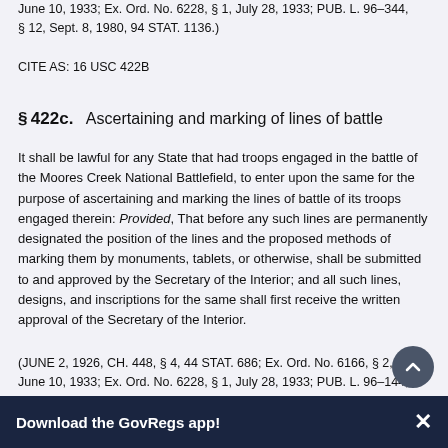June 10, 1933; Ex. Ord. No. 6228, § 1, July 28, 1933; PUB. L. 96–344, § 12, Sept. 8, 1980, 94 STAT. 1136.)
CITE AS: 16 USC 422B
§ 422c.   Ascertaining and marking of lines of battle
It shall be lawful for any State that had troops engaged in the battle of the Moores Creek National Battlefield, to enter upon the same for the purpose of ascertaining and marking the lines of battle of its troops engaged therein: Provided, That before any such lines are permanently designated the position of the lines and the proposed methods of marking them by monuments, tablets, or otherwise, shall be submitted to and approved by the Secretary of the Interior; and all such lines, designs, and inscriptions for the same shall first receive the written approval of the Secretary of the Interior.
(JUNE 2, 1926, CH. 448, § 4, 44 STAT. 686; Ex. Ord. No. 6166, § 2, June 10, 1933; Ex. Ord. No. 6228, § 1, July 28, 1933; PUB. L. 96–144, § 12, Sept. 8, 1980, 94 STAT. 1136.)
Download the GovRegs app!